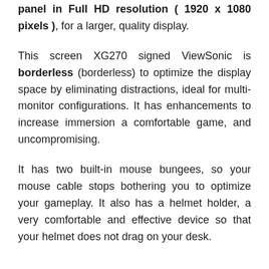panel in Full HD resolution ( 1920 x 1080 pixels ), for a larger, quality display.
This screen XG270 signed ViewSonic is borderless (borderless) to optimize the display space by eliminating distractions, ideal for multi-monitor configurations. It has enhancements to increase immersion a comfortable game, and uncompromising.
It has two built-in mouse bungees, so your mouse cable stops bothering you to optimize your gameplay. It also has a helmet holder, a very comfortable and effective device so that your helmet does not drag on your desk.